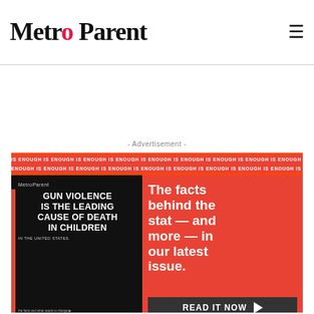Metro Parent
- Advertisement -
[Figure (infographic): Metro Parent advertisement banner. Left half: black background with white bold text 'GUN VIOLENCE IS THE LEADING CAUSE OF DEATH IN CHILDREN' with Metro Parent logo above. Right half: orange/red background with white text 'The facts behind the stat — and more — in our latest issue.' Bottom: dark bar with 'READ IT NOW' and arrow button. Scrolling text banner above reads 'IS ENOUGH IS ENOUGH IS ENOUGH' repeated.]